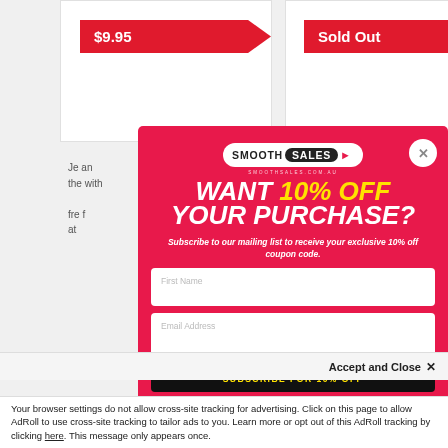[Figure (screenshot): Background e-commerce page showing two product price badges: '$9.95' (red arrow badge, left) and 'Sold Out' (red arrow badge, right), with partial product description text visible behind a modal overlay.]
[Figure (screenshot): Modal popup overlay from SmoothSales.com.au offering 10% off purchase. Contains SmoothSales logo, headline 'WANT 10% OFF YOUR PURCHASE?', subtitle 'Subscribe to our mailing list to receive your exclusive 10% off coupon code.', First Name input field, Email Address input field, and a 'SUBSCRIBE FOR 10% OFF' button in black with yellow text.]
Accept and Close ✕
Your browser settings do not allow cross-site tracking for advertising. Click on this page to allow AdRoll to use cross-site tracking to tailor ads to you. Learn more or opt out of this AdRoll tracking by clicking here. This message only appears once.